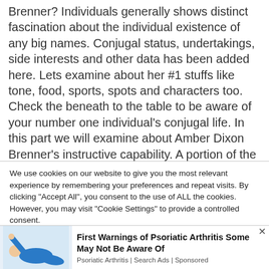Brenner? Individuals generally shows distinct fascination about the individual existence of any big names. Conjugal status, undertakings, side interests and other data has been added here. Lets examine about her #1 stuffs like tone, food, sports, spots and characters too. Check the beneath to the table to be aware of your number one individual's conjugal life. In this part we will examine about Amber Dixon Brenner's instructive capability. A portion of the devotees are keen on instructive capabilities. The coomon reality of fans is they generally follow their
We use cookies on our website to give you the most relevant experience by remembering your preferences and repeat visits. By clicking "Accept All", you consent to the use of ALL the cookies. However, you may visit "Cookie Settings" to provide a controlled consent.
[Figure (advertisement): Ad showing a person in blue shirt with text: First Warnings of Psoriatic Arthritis Some May Not Be Aware Of. Psoriatic Arthritis | Search Ads | Sponsored]